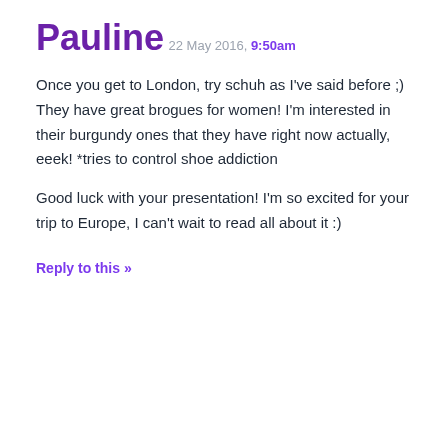Pauline
22 May 2016, 9:50am
Once you get to London, try schuh as I've said before ;) They have great brogues for women! I'm interested in their burgundy ones that they have right now actually, eeek! *tries to control shoe addiction
Good luck with your presentation! I'm so excited for your trip to Europe, I can't wait to read all about it :)
Reply to this »